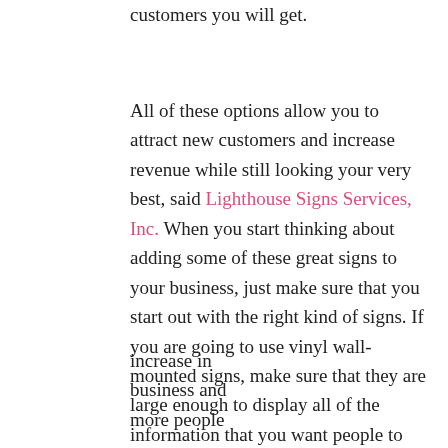customers you will get.
All of these options allow you to attract new customers and increase revenue while still looking your very best, said Lighthouse Signs Services, Inc. When you start thinking about adding some of these great signs to your business, just make sure that you start out with the right kind of signs. If you are going to use vinyl wall-mounted signs, make sure that they are large enough to display all of the information that you want people to see and that they are placed in locations where they will be easy to see. Once you have everything in place, you will see an increase in business and more people
[Figure (photo): Photo of outdoor business signs including a yellow sign on a pole and a dark rectangular sign, against a sky background]